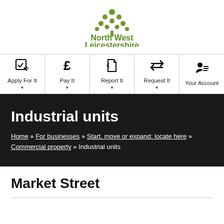[Figure (logo): North West Leicestershire District Council logo with green tree/dots icon and text]
[Figure (infographic): Navigation bar with five items: Apply For It, Pay It, Report It, Request It, Your Account — each with an icon and dropdown arrow]
Industrial units
Home » For businesses » Start, move or expand: locate here » Commercial property » Industrial units
Market Street